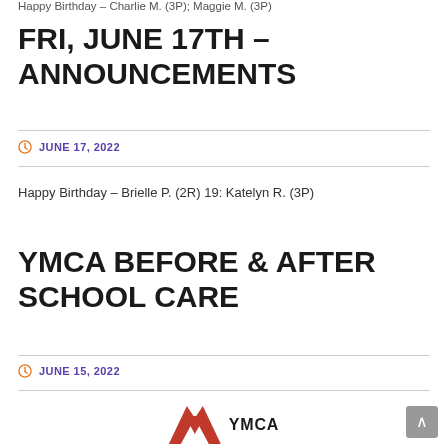Happy Birthday – Charlie M. (3P); Maggie M. (3P)
FRI, JUNE 17TH – ANNOUNCEMENTS
JUNE 17, 2022
Happy Birthday – Brielle P. (2R) 19: Katelyn R. (3P)
YMCA BEFORE & AFTER SCHOOL CARE
JUNE 15, 2022
[Figure (logo): YMCA logo with red triangle/arrow shapes and YMCA text]